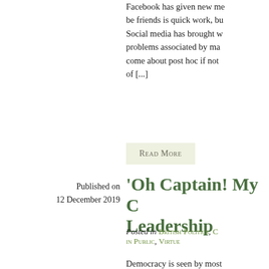Facebook has given new me... be friends is quick work, bu... Social media has brought w... problems associated by ma... come about post hoc if not... of [...]
Read More
Published on 12 December 2019
'Oh Captain! My C... Leadership
Posted in British Politics, ... in Public, Virtue
Democracy is seen by most...